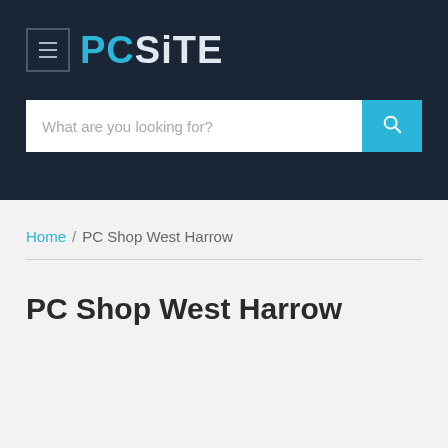[Figure (logo): PCSiTE website header with hamburger menu icon, PCSITE logo in blue and white text, and a search bar with blue search button]
Home / PC Shop West Harrow
PC Shop West Harrow